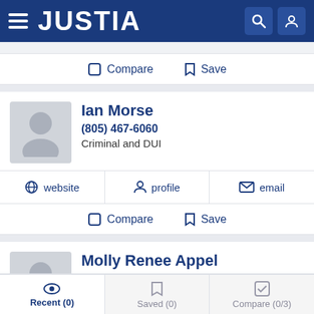JUSTIA
Compare  Save
Ian Morse
(805) 467-6060
Criminal and DUI
website  profile  email
Compare  Save
Molly Renee Appel
(805) 467-6060
Criminal and DUI
Recent (0)  Saved (0)  Compare (0/3)